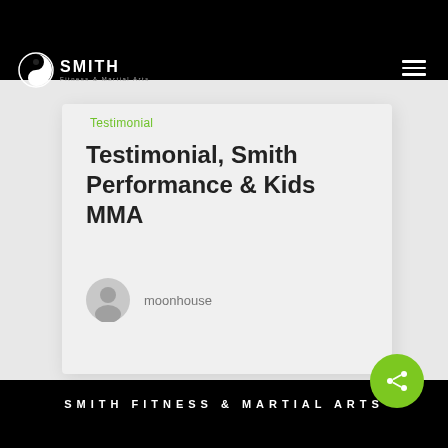SMITH Fitness & Martial Arts
Testimonial
Testimonial, Smith Performance & Kids MMA
moonhouse
SMITH FITNESS & MARTIAL ARTS